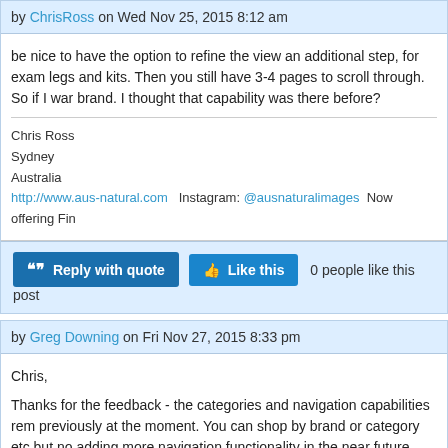by ChrisRoss on Wed Nov 25, 2015 8:12 am
be nice to have the option to refine the view an additional step, for exam legs and kits. Then you still have 3-4 pages to scroll through. So if I war brand. I thought that capability was there before?
Chris Ross
Sydney
Australia
http://www.aus-natural.com   Instagram: @ausnaturalimages  Now offering Fin
" Reply with quote   👍 Like this   0 people like this post
by Greg Downing on Fri Nov 27, 2015 8:33 pm
Chris,

Thanks for the feedback - the categories and navigation capabilities rem previously at the moment. You can shop by brand or category etc but no adding more navigation functionality in the near future now that we have assist way to find what you're looking for at this time is to use the sea